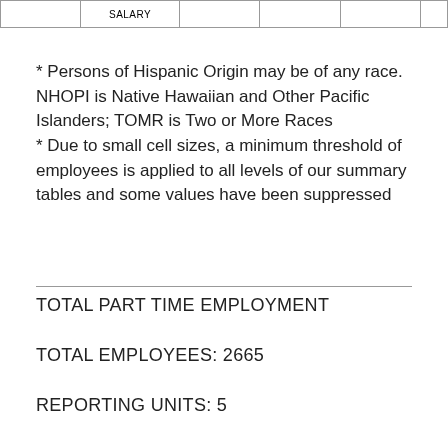|  | SALARY |  |  |  |  |
| --- | --- | --- | --- | --- | --- |
|  |
* Persons of Hispanic Origin may be of any race. NHOPI is Native Hawaiian and Other Pacific Islanders; TOMR is Two or More Races
* Due to small cell sizes, a minimum threshold of employees is applied to all levels of our summary tables and some values have been suppressed
TOTAL PART TIME EMPLOYMENT
TOTAL EMPLOYEES: 2665
REPORTING UNITS: 5